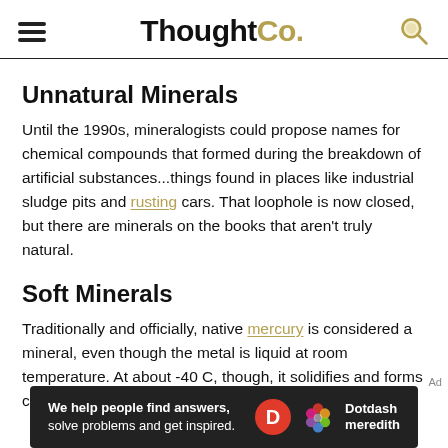ThoughtCo.
Unnatural Minerals
Until the 1990s, mineralogists could propose names for chemical compounds that formed during the breakdown of artificial substances...things found in places like industrial sludge pits and rusting cars. That loophole is now closed, but there are minerals on the books that aren't truly natural.
Soft Minerals
Traditionally and officially, native mercury is considered a mineral, even though the metal is liquid at room temperature. At about -40 C, though, it solidifies and forms crystals like
[Figure (other): Dotdash Meredith advertisement banner: 'We help people find answers, solve problems and get inspired.' with Dotdash Meredith logo.]